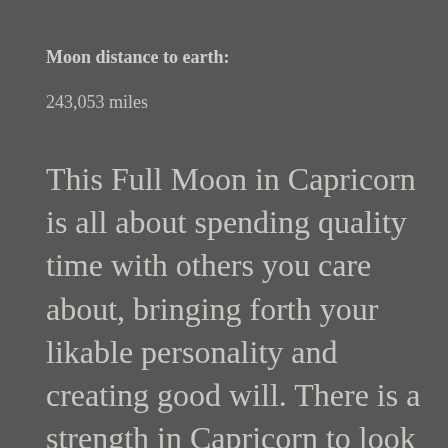Moon distance to earth:
243,053 miles
This Full Moon in Capricorn is all about spending quality time with others you care about, bringing forth your likable personality and creating good will. There is a strength in Capricorn to look at all aspects of our psyche in a practical way. What would make us likable, working on our relationships with others and being our outward social selves. Not by being overly convivial, but by